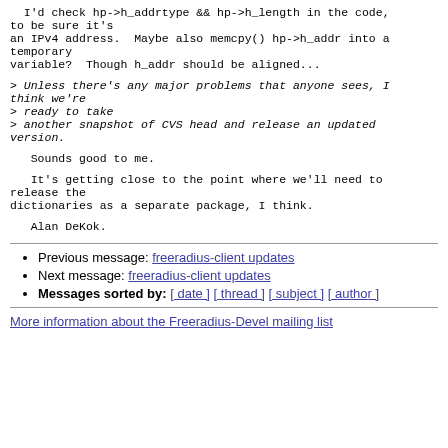I'd check hp->h_addrtype && hp->h_length in the code, to be sure it's
an IPv4 address.  Maybe also memcpy() hp->h_addr into a temporary
variable?  Though h_addr should be aligned...
> Unless there's any major problems that anyone sees, I think we're
> ready to take
> another snapshot of CVS head and release an updated version.
Sounds good to me.
It's getting close to the point where we'll need to release the
dictionaries as a separate package, I think.
Alan DeKok.
Previous message: freeradius-client updates
Next message: freeradius-client updates
Messages sorted by: [ date ] [ thread ] [ subject ] [ author ]
More information about the Freeradius-Devel mailing list